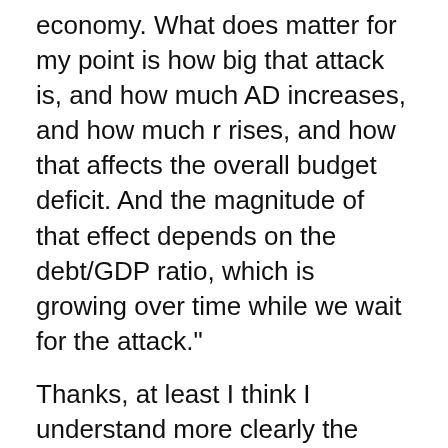economy. What does matter for my point is how big that attack is, and how much AD increases, and how much r rises, and how that affects the overall budget deficit. And the magnitude of that effect depends on the debt/GDP ratio, which is growing over time while we wait for the attack."
Thanks, at least I think I understand more clearly the mechanism that you've got in mind. But I still don't get your point that "What does matter ... is how big that attack is..." Nick, you just explained a li...